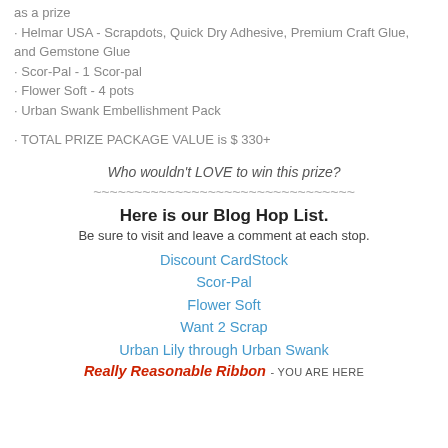as a prize
· Helmar USA - Scrapdots, Quick Dry Adhesive, Premium Craft Glue, and Gemstone Glue
· Scor-Pal - 1 Scor-pal
· Flower Soft - 4 pots
· Urban Swank Embellishment Pack
· TOTAL PRIZE PACKAGE VALUE is $ 330+
Who wouldn't LOVE to win this prize?
~~~~~~~~~~~~~~~~~~~~~~~~~~~~~~~~
Here is our Blog Hop List.
Be sure to visit and leave a comment at each stop.
Discount CardStock
Scor-Pal
Flower Soft
Want 2 Scrap
Urban Lily through Urban Swank
Really Reasonable Ribbon - YOU ARE HERE